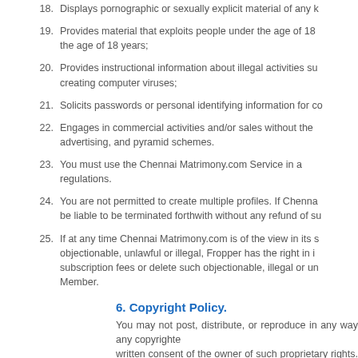18. Displays pornographic or sexually explicit material of any k
19. Provides material that exploits people under the age of 18 the age of 18 years;
20. Provides instructional information about illegal activities su creating computer viruses;
21. Solicits passwords or personal identifying information for co
22. Engages in commercial activities and/or sales without the advertising, and pyramid schemes.
23. You must use the Chennai Matrimony.com Service in a regulations.
24. You are not permitted to create multiple profiles. If Chenna be liable to be terminated forthwith without any refund of su
25. If at any time Chennai Matrimony.com is of the view in its s objectionable, unlawful or illegal, Fropper has the right in i subscription fees or delete such objectionable, illegal or un Member.
6. Copyright Policy.
You may not post, distribute, or reproduce in any way any copyrighte written consent of the owner of such proprietary rights. Without limiting through the Chennai Matrimony.com Service in a way that consti